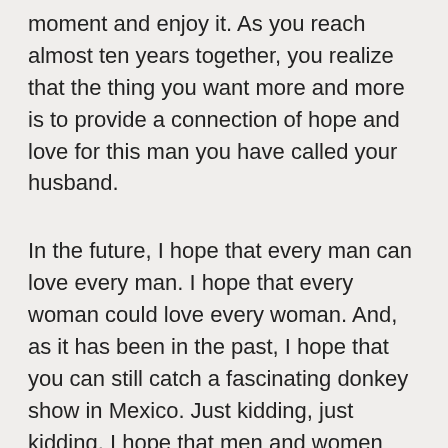moment and enjoy it. As you reach almost ten years together, you realize that the thing you want more and more is to provide a connection of hope and love for this man you have called your husband.
In the future, I hope that every man can love every man. I hope that every woman could love every woman. And, as it has been in the past, I hope that you can still catch a fascinating donkey show in Mexico. Just kidding, just kidding. I hope that men and women learn to love again. I hope that in the